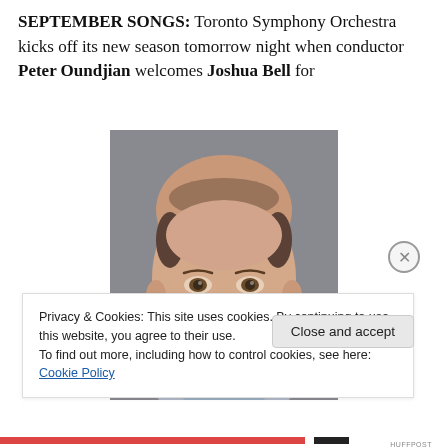SEPTEMBER SONGS: Toronto Symphony Orchestra kicks off its new season tomorrow night when conductor Peter Oundjian welcomes Joshua Bell for
[Figure (photo): Headshot portrait of a middle-aged bald man with a neutral expression, wearing a light blue shirt, photographed against a grey background.]
Privacy & Cookies: This site uses cookies. By continuing to use this website, you agree to their use. To find out more, including how to control cookies, see here: Cookie Policy
Close and accept